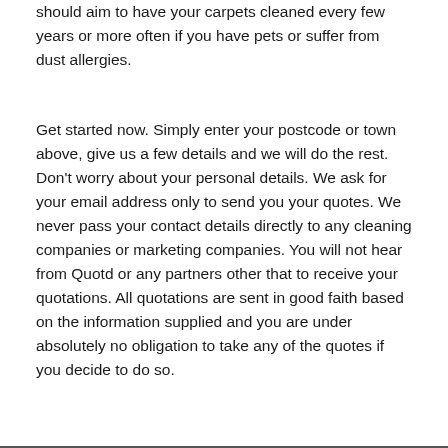should aim to have your carpets cleaned every few years or more often if you have pets or suffer from dust allergies.
Get started now. Simply enter your postcode or town above, give us a few details and we will do the rest. Don't worry about your personal details. We ask for your email address only to send you your quotes. We never pass your contact details directly to any cleaning companies or marketing companies. You will not hear from Quotd or any partners other that to receive your quotations. All quotations are sent in good faith based on the information supplied and you are under absolutely no obligation to take any of the quotes if you decide to do so.